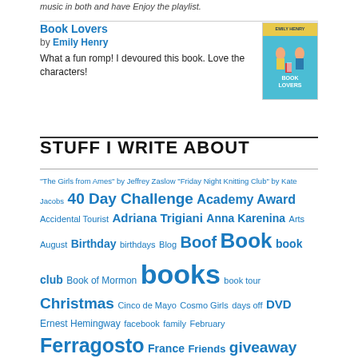music in both and have Enjoy the playlist.
[Figure (illustration): Book cover of 'Book Lovers' by Emily Henry showing illustrated characters]
Book Lovers
by Emily Henry
What a fun romp! I devoured this book. Love the characters!
STUFF I WRITE ABOUT
"The Girls from Ames" by Jeffrey Zaslow "Friday Night Knitting Club" by Kate Jacobs 40 Day Challenge Academy Award Accidental Tourist Adriana Trigiani Anna Karenina Arts August Birthday birthdays Blog Boof Book book club Book of Mormon books book tour Christmas Cinco de Mayo Cosmo Girls days off DVD Ernest Hemingway facebook family February Ferragosto France Friends giveaway Glen Hansard Gone With the Wind GoodReads Great Gatsby Greenwich Village Happiness happy Harry Potter Holiday Jane